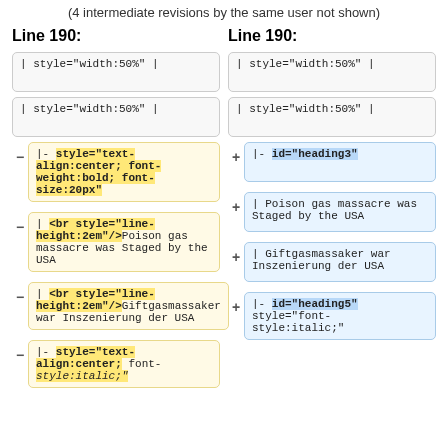(4 intermediate revisions by the same user not shown)
Line 190:
Line 190:
| style="width:50%" |
| style="width:50%" |
| style="width:50%" |
| style="width:50%" |
|- style="text-align:center; font-weight:bold; font-size:20px"
|- id="heading3"
| <br style="line-height:2em"/>Poison gas massacre was Staged by the USA
| Poison gas massacre was Staged by the USA
| <br style="line-height:2em"/>Giftgasmassaker war Inszenierung der USA
| Giftgasmassaker war Inszenierung der USA
|- style="text-align:center; font-
|- id="heading5" style="font-